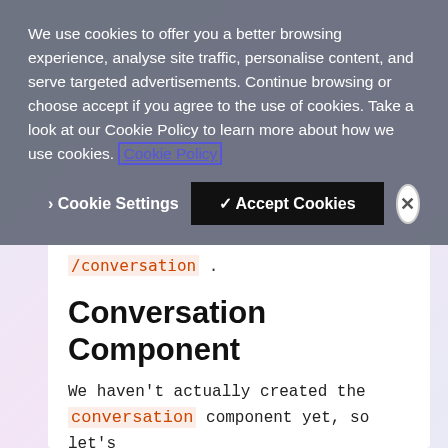We use cookies to offer you a better browsing experience, analyse site traffic, personalise content, and serve targeted advertisements. Continue browsing or choose accept if you agree to the use of cookies. Take a look at our Cookie Policy to learn more about how we use cookies. Cookie Policy
> Cookie Settings   ✓ Accept Cookies   ×
/conversation .
Conversation Component
We haven't actually created the conversation component yet, so let's go ahead and use the Angular CLI to create that:
$ ng g component conversation